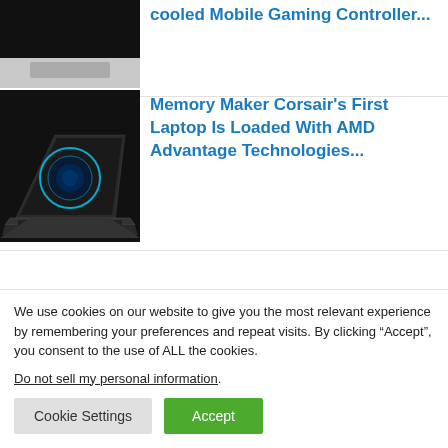[Figure (photo): Partial thumbnail of a gaming controller product at the top of the page, cropped]
cooled Mobile Gaming Controller...
[Figure (photo): Dark gaming laptop with glowing blue circular display on screen, shown from front and side angle]
Memory Maker Corsair's First Laptop Is Loaded With AMD Advantage Technologies...
[Figure (photo): Partial thumbnail of a third article, partially visible at bottom of content area]
...
We use cookies on our website to give you the most relevant experience by remembering your preferences and repeat visits. By clicking “Accept”, you consent to the use of ALL the cookies.
Do not sell my personal information.